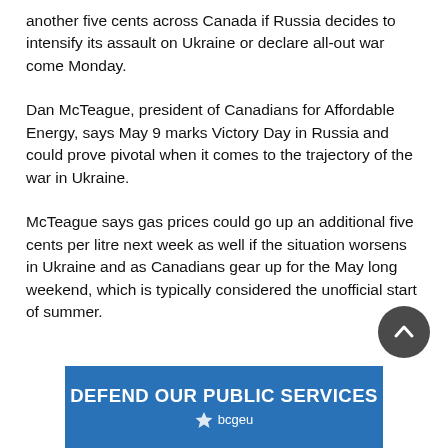another five cents across Canada if Russia decides to intensify its assault on Ukraine or declare all-out war come Monday.
Dan McTeague, president of Canadians for Affordable Energy, says May 9 marks Victory Day in Russia and could prove pivotal when it comes to the trajectory of the war in Ukraine.
McTeague says gas prices could go up an additional five cents per litre next week as well if the situation worsens in Ukraine and as Canadians gear up for the May long weekend, which is typically considered the unofficial start of summer.
[Figure (infographic): Blue advertisement banner reading DEFEND OUR PUBLIC SERVICES with bcgeu logo below]